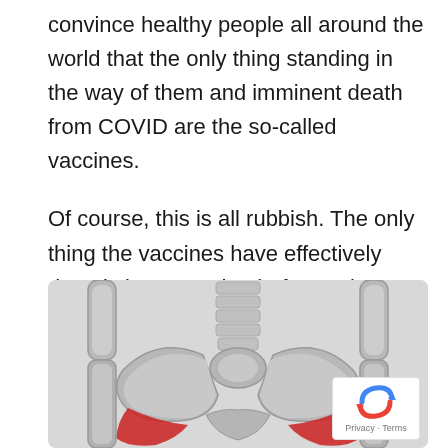convince healthy people all around the world that the only thing standing in the way of them and imminent death from COVID are the so-called vaccines.

Of course, this is all rubbish. The only thing the vaccines have effectively done is increase death, from other causes outside of COVID, that is.
[Figure (illustration): Medical illustration of human pelvis and lower spine anatomy, showing bones in silver/chrome style with red highlighted areas on either side of the pelvis (hip flexor or psoas muscle regions). Gray background. A reCAPTCHA badge appears in the bottom-right corner with 'Privacy · Terms' text.]